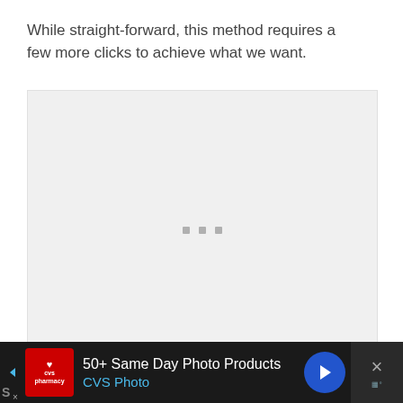While straight-forward, this method requires a few more clicks to achieve what we want.
[Figure (screenshot): A light gray placeholder image box with three small gray square dots in the center, indicating a loading or empty image state.]
[Figure (other): Advertisement bar at the bottom: CVS Pharmacy ad for '50+ Same Day Photo Products' with CVS Photo branding, navigation arrow icon, and a close (X) button on dark background.]